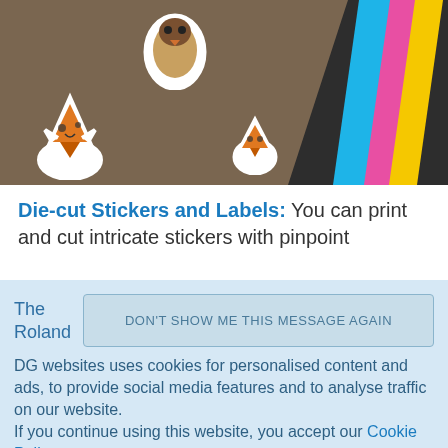[Figure (photo): Photo of die-cut stickers on a brown surface, with colorful stripes (blue, pink, yellow) on the right side against a dark background. Visible stickers include a fox/flame figure and a bird shape.]
Die-cut Stickers and Labels: You can print and cut intricate stickers with pinpoint
The Roland DG websites uses cookies for personalised content and ads, to provide social media features and to analyse traffic on our website. If you continue using this website, you accept our Cookie Policy. You can change your cookie settings at any time.
DON'T SHOW ME THIS MESSAGE AGAIN